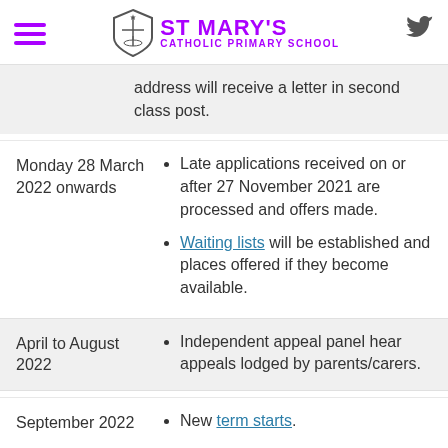ST MARY'S CATHOLIC PRIMARY SCHOOL
address will receive a letter in second class post.
Monday 28 March 2022 onwards
Late applications received on or after 27 November 2021 are processed and offers made.
Waiting lists will be established and places offered if they become available.
April to August 2022
Independent appeal panel hear appeals lodged by parents/carers.
September 2022
New term starts.